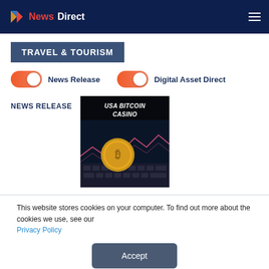NewsDirect
TRAVEL & TOURISM
News Release
Digital Asset Direct
NEWS RELEASE
[Figure (photo): USA Bitcoin Casino image showing a bitcoin coin on a keyboard with financial chart background]
This website stores cookies on your computer. To find out more about the cookies we use, see our Privacy Policy
Accept